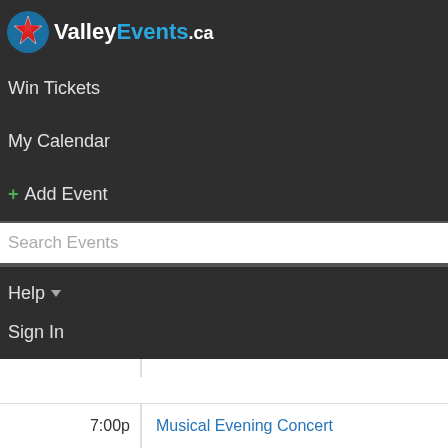[Figure (logo): ValleyEvents.ca logo with star icon]
Win Tickets
My Calendar
+ Add Event
Search Events
Help
Sign In
| Time | Event |
| --- | --- |
| 7:00p | Musical Evening Concert |
| 7:00p | Freya Milliken Trio at Horton Ridge |
| 7:00p | Youth Art Lessons |